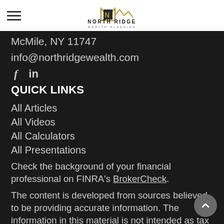North Ridge Wealth Planning
McMile, NY 11747
info@northridgewealth.com
[Figure (other): Facebook and LinkedIn social media icons (f and in)]
QUICK LINKS
All Articles
All Videos
All Calculators
All Presentations
Check the background of your financial professional on FINRA's BrokerCheck.
The content is developed from sources believed to be providing accurate information. The information in this material is not intended as tax or legal advice. Please